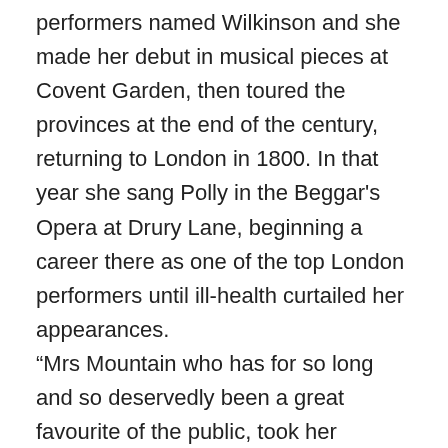performers named Wilkinson and she made her debut in musical pieces at Covent Garden, then toured the provinces at the end of the century, returning to London in 1800. In that year she sang Polly in the Beggar's Opera at Drury Lane, beginning a career there as one of the top London performers until ill-health curtailed her appearances.
“Mrs Mountain who has for so long and so deservedly been a great favourite of the public, took her farewell of the Stage last Thursday night, at the King’s Theatre. In the course of the evening Mrs Mountain delivered, or rather attempted to deliver, an Address of respectful gratitude to the public, for the long and warm patronage which she has experienced – her feelings during the recital powerfully affecting her utterance. This Address, as well as the whole of the entertainments, were received with the warmest